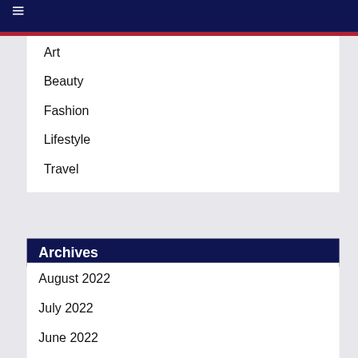☰
Art
Beauty
Fashion
Lifestyle
Travel
Archives
August 2022
July 2022
June 2022
May 2022